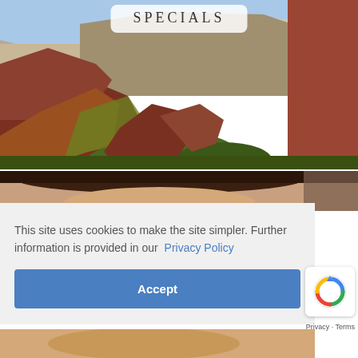[Figure (photo): Scenic canyon landscape with red rock formations, cliffs, and blue sky. A 'SPECIALS' label in a white rounded box appears at the top center of the image.]
SPECIALS
[Figure (photo): Partial view of a person's face, cropped at the top of the second image strip.]
This site uses cookies to make the site simpler. Further information is provided in our  Privacy Policy
Accept
[Figure (other): reCAPTCHA logo badge]
Privacy · Terms